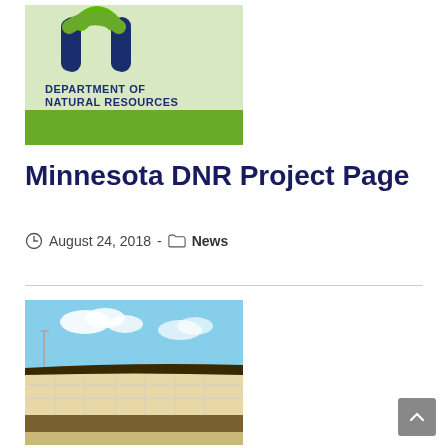[Figure (logo): Minnesota Department of Natural Resources logo with stylized 'm' icon in dark blue and green, and text 'DEPARTMENT OF NATURAL RESOURCES' below, on a light green background with a dark green bar at the bottom]
Minnesota DNR Project Page
August 24, 2018  -  News
[Figure (photo): Outdoor photo showing a large retaining wall or berm structure with dark soil/earth fill on top, under a partly cloudy blue sky]